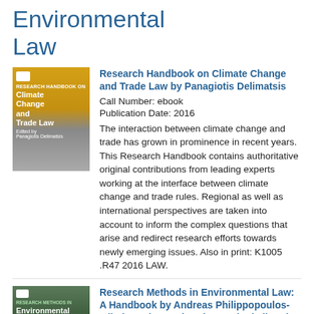Environmental Law
[Figure (illustration): Book cover for Research Handbook on Climate Change and Trade Law - yellow and grey toned cover with city skyline]
Research Handbook on Climate Change and Trade Law by Panagiotis Delimatsis
Call Number: ebook
Publication Date: 2016
The interaction between climate change and trade has grown in prominence in recent years. This Research Handbook contains authoritative original contributions from leading experts working at the interface between climate change and trade rules. Regional as well as international perspectives are taken into account to inform the complex questions that arise and redirect research efforts towards newly emerging issues. Also in print: K1005 .R47 2016 LAW.
[Figure (illustration): Book cover for Research Methods in Environmental Law - dark green cover with aerial/landscape photograph]
Research Methods in Environmental Law: A Handbook by Andreas Philippopoulos-Mihalopoulos & Victoria Brooks (editors)
Call Number: E-BOOK
Publication Date: 2017
This handbook provides a theoretically